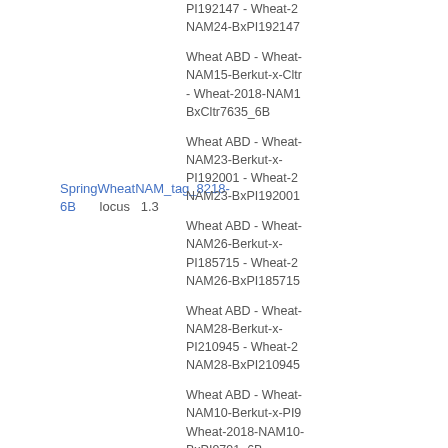SpringWheatNAM_tag_8218-6B    locus   1.3
PI192147 - Wheat-2018-NAM24-BxPI192147
Wheat ABD - Wheat-2018-NAM15-Berkut-x-Cltr7635 - Wheat-2018-NAM15-BxCltr7635_6B
Wheat ABD - Wheat-2018-NAM23-Berkut-x-PI192001 - Wheat-2018-NAM23-BxPI192001
Wheat ABD - Wheat-2018-NAM26-Berkut-x-PI185715 - Wheat-2018-NAM26-BxPI185715
Wheat ABD - Wheat-2018-NAM28-Berkut-x-PI210945 - Wheat-2018-NAM28-BxPI210945
Wheat ABD - Wheat-2018-NAM10-Berkut-x-PI9791 - Wheat-2018-NAM10-BxPI9791_6B
Wheat ABD - Wheat-2018-NAM5-Berkut-x-PI382150 - Wheat-2018-NAM5-BxPI382150_6B